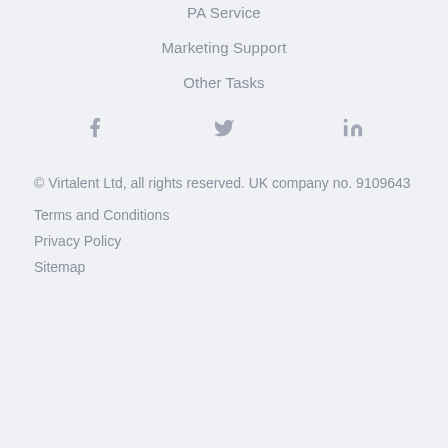PA Service
Marketing Support
Other Tasks
[Figure (infographic): Social media icons: Facebook (f), Twitter (bird), LinkedIn (in)]
© Virtalent Ltd, all rights reserved. UK company no. 9109643
Terms and Conditions
Privacy Policy
Sitemap